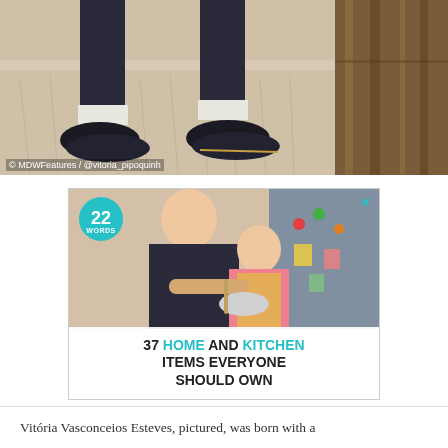[Figure (photo): Top portion of photo showing feet/legs of a person on a light shaggy rug next to wooden stairs or furniture, with photo credit '© MDWFeatures / @vitoria_pipoquinh']
[Figure (infographic): Advertisement banner for '22 Words' website with image of a mother and daughter cooking together in kitchen, teal badge showing '22 WORDS', close button X, headline text '37 HOME AND KITCHEN ITEMS EVERYONE SHOULD OWN' with HOME and KITCHEN in teal color]
Vitória Vasconceios Esteves, pictured, was born with a